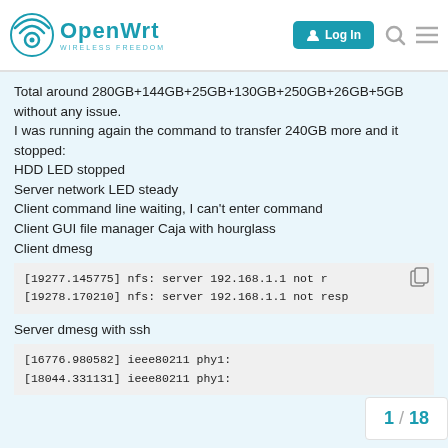OpenWrt — WIRELESS FREEDOM | Log In
Total around 280GB+144GB+25GB+130GB+250GB+26GB+5GB without any issue.
I was running again the command to transfer 240GB more and it stopped:
HDD LED stopped
Server network LED steady
Client command line waiting, I can't enter command
Client GUI file manager Caja with hourglass
Client dmesg
[Figure (screenshot): Code block showing dmesg output: [19277.145775] nfs: server 192.168.1.1 not resp... [19278.170210] nfs: server 192.168.1.1 not resp...]
Server dmesg with ssh
[Figure (screenshot): Code block showing server dmesg: [16776.980582] ieee80211 phy1: [18044.331131] ieee80211 phy1:]
1 / 18